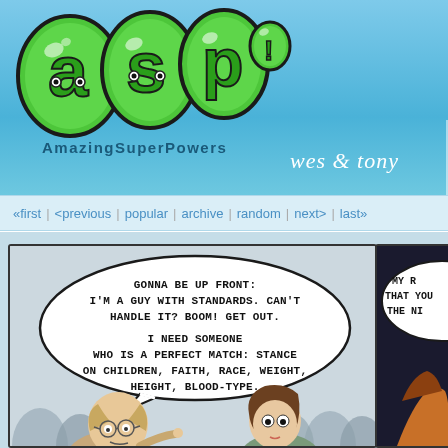[Figure (logo): Amazing Super Powers (ASP) logo - green bubble letters on blue background]
wes & tony
«first | <previous | popular | archive | random | next> | last»
[Figure (illustration): Webcomic panel showing two characters at a table. Speech bubble reads: GONNA BE UP FRONT: I'M A GUY WITH STANDARDS. CAN'T HANDLE IT? BOOM! GET OUT. I NEED SOMEONE WHO IS A PERFECT MATCH: STANCE ON CHILDREN, FAITH, RACE, WEIGHT, HEIGHT, BLOOD-TYPE. Partial second panel shows another speech bubble starting with MY R... THAT YOU... THE NI...]